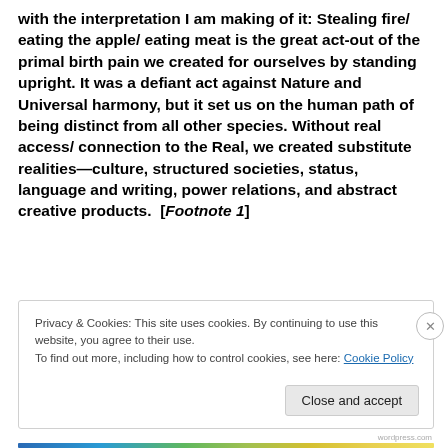with the interpretation I am making of it: Stealing fire/ eating the apple/ eating meat is the great act-out of the primal birth pain we created for ourselves by standing upright. It was a defiant act against Nature and Universal harmony, but it set us on the human path of being distinct from all other species. Without real access/ connection to the Real, we created substitute realities—culture, structured societies, status, language and writing, power relations, and abstract creative products.  [Footnote 1]
Privacy & Cookies: This site uses cookies. By continuing to use this website, you agree to their use.
To find out more, including how to control cookies, see here: Cookie Policy